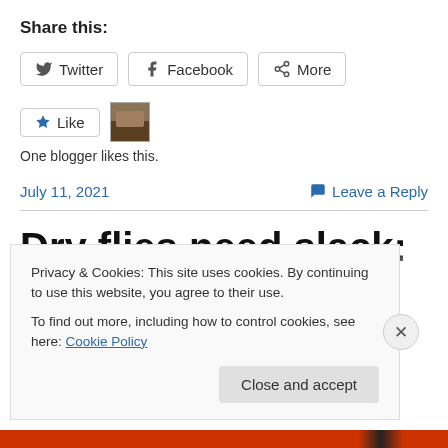Share this:
Twitter  Facebook  More
[Figure (other): Like button and blogger avatar thumbnail]
One blogger likes this.
July 11, 2021    Leave a Reply
Dry flies need slack: So give it
Privacy & Cookies: This site uses cookies. By continuing to use this website, you agree to their use. To find out more, including how to control cookies, see here: Cookie Policy
Close and accept